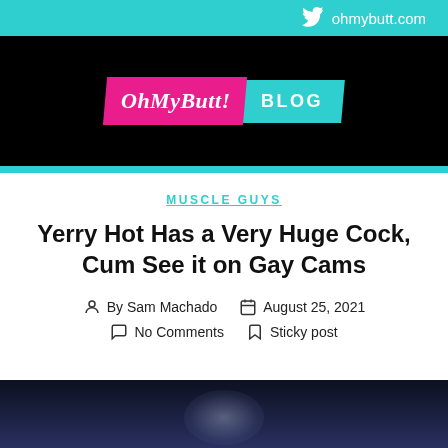ohmybutt.com
[Figure (logo): OhMyButt! BLOG logo with pink skewed background for brand name and teal skewed background for BLOG text]
MUSCLE GUYS
Yerry Hot Has a Very Huge Cock, Cum See it on Gay Cams
By Sam Machado   August 25, 2021   No Comments   Sticky post
[Figure (photo): Dark moody photo at bottom of page, partially visible, showing dark blue/grey tones]